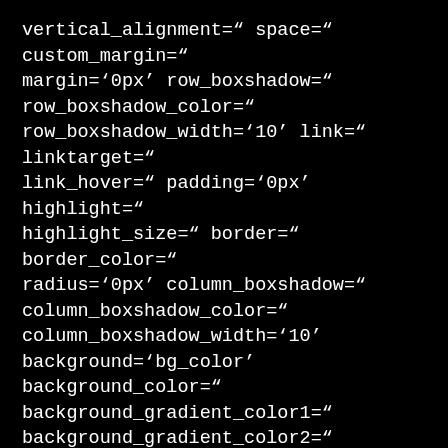vertical_alignment=" space=" custom_margin=" margin='0px' row_boxshadow=" row_boxshadow_color=" row_boxshadow_width='10' link=" linktarget=" link_hover=" padding='0px' highlight=" highlight_size=" border=" border_color=" radius='0px' column_boxshadow=" column_boxshadow_color=" column_boxshadow_width='10' background='bg_color' background_color=" background_gradient_color1=" background_gradient_color2=" background_gradient_direction='vertical' src=" background_position='top left' background_repeat='no-repeat' animation=" mobile_breaking=" mobile_display=" av_uid='av-peduw'] [av_textblock size=" font_color=" color=" av_